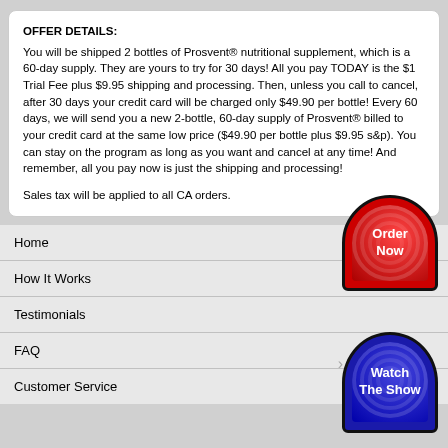OFFER DETAILS:
You will be shipped 2 bottles of Prosvent® nutritional supplement, which is a 60-day supply. They are yours to try for 30 days! All you pay TODAY is the $1 Trial Fee plus $9.95 shipping and processing. Then, unless you call to cancel, after 30 days your credit card will be charged only $49.90 per bottle! Every 60 days, we will send you a new 2-bottle, 60-day supply of Prosvent® billed to your credit card at the same low price ($49.90 per bottle plus $9.95 s&p). You can stay on the program as long as you want and cancel at any time! And remember, all you pay now is just the shipping and processing!
Sales tax will be applied to all CA orders.
Home
How It Works
Testimonials
FAQ
Customer Service
[Figure (other): Red arch-shaped 'Order Now' button with concentric circle pattern]
[Figure (other): Blue arch-shaped 'Watch The Show' button with concentric circle pattern]